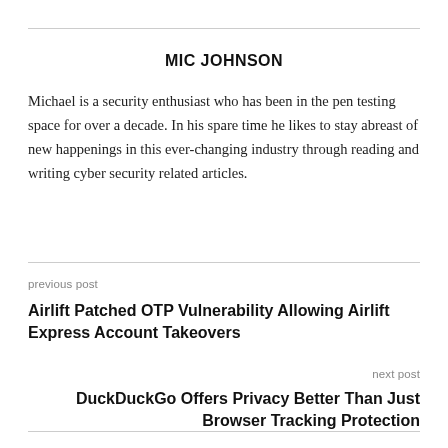MIC JOHNSON
Michael is a security enthusiast who has been in the pen testing space for over a decade. In his spare time he likes to stay abreast of new happenings in this ever-changing industry through reading and writing cyber security related articles.
previous post
Airlift Patched OTP Vulnerability Allowing Airlift Express Account Takeovers
next post
DuckDuckGo Offers Privacy Better Than Just Browser Tracking Protection